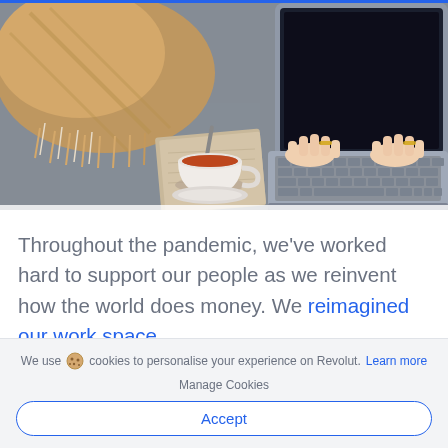[Figure (photo): Overhead/top-down photo of a work-from-home desk scene: a laptop with hands typing on the keyboard, a cup of tea on a notebook, and a cozy blanket/throw, all on a grey concrete-style surface.]
Throughout the pandemic, we've worked hard to support our people as we reinvent how the world does money. We reimagined our work space,
We use cookies to personalise your experience on Revolut. Learn more
Manage Cookies
Accept